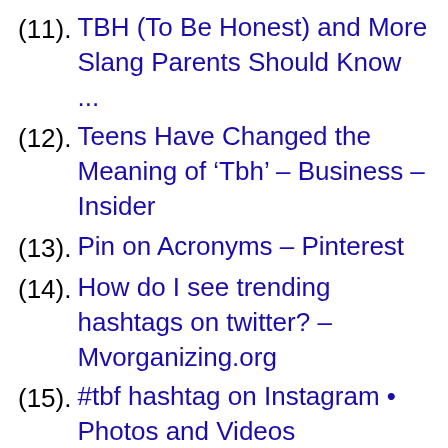(11). TBH (To Be Honest) and More Slang Parents Should Know ...
(12). Teens Have Changed the Meaning of ‘Tbh’ – Business – Insider
(13). Pin on Acronyms – Pinterest
(14). How do I see trending hashtags on twitter? – Mvorganizing.org
(15). #tbf hashtag on Instagram • Photos and Videos
(16). What does tbf mean in texting
(17). what does tbf mean on snapchat – LANGSET SERVICES POLAND ...
(18). what does tbf mean on snapchat